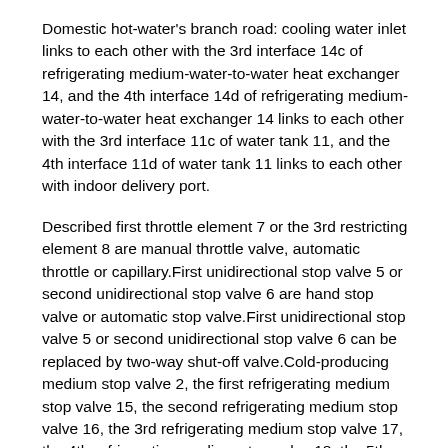Domestic hot-water's branch road: cooling water inlet links to each other with the 3rd interface 14c of refrigerating medium-water-to-water heat exchanger 14, and the 4th interface 14d of refrigerating medium-water-to-water heat exchanger 14 links to each other with the 3rd interface 11c of water tank 11, and the 4th interface 11d of water tank 11 links to each other with indoor delivery port.
Described first throttle element 7 or the 3rd restricting element 8 are manual throttle valve, automatic throttle or capillary.First unidirectional stop valve 5 or second unidirectional stop valve 6 are hand stop valve or automatic stop valve.First unidirectional stop valve 5 or second unidirectional stop valve 6 can be replaced by two-way shut-off valve.Cold-producing medium stop valve 2, the first refrigerating medium stop valve 15, the second refrigerating medium stop valve 16, the 3rd refrigerating medium stop valve 17, the 4th refrigerating medium stop valve 18, the 5th refrigerating medium stop valve 19 are two-way shut-off valve.
Refrigerating medium-water-to-water heat exchanger 14 is double pipe heat exchanger or plate type heat